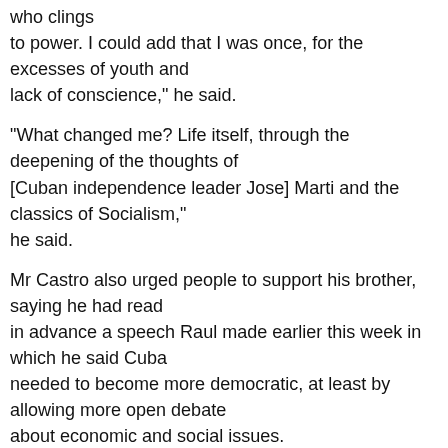who clings to power. I could add that I was once, for the excesses of youth and lack of conscience," he said.
"What changed me? Life itself, through the deepening of the thoughts of [Cuban independence leader Jose] Marti and the classics of Socialism," he said.
Mr Castro also urged people to support his brother, saying he had read in advance a speech Raul made earlier this week in which he said Cuba needed to become more democratic, at least by allowing more open debate about economic and social issues.
"It is necessary to continue marching without stopping for even a minute. I will raise my hand next to yours to support him," he added in